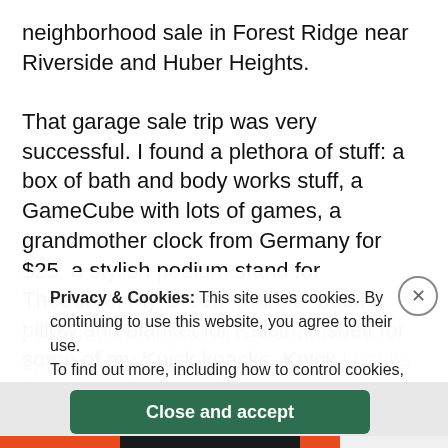neighborhood sale in Forest Ridge near Riverside and Huber Heights.
That garage sale trip was very successful. I found a plethora of stuff: a box of bath and body works stuff, a GameCube with lots of games, a grandmother clock from Germany for $25, a stylish podium stand for Theodore, my Greek “marble” bust, a pillow and blanket for Raisin, a shelf for some of my Knick knacks, Knick knacks for some of my shelf.
All that was spending to be found in excess for one thing mirrors.
Privacy & Cookies: This site uses cookies. By continuing to use this website, you agree to their use. To find out more, including how to control cookies, see here: Cookie Policy
Close and accept